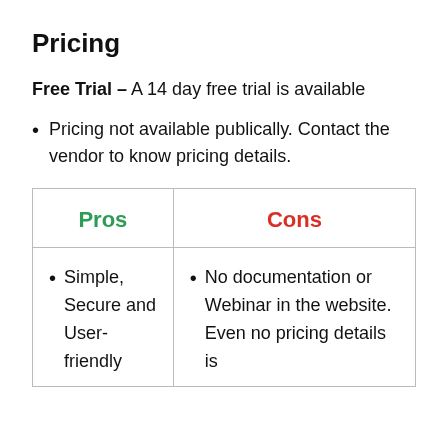Pricing
Free Trial – A 14 day free trial is available
Pricing not available publically. Contact the vendor to know pricing details.
| Pros | Cons |
| --- | --- |
| Simple, Secure and User-friendly | No documentation or Webinar in the website. Even no pricing details is… |